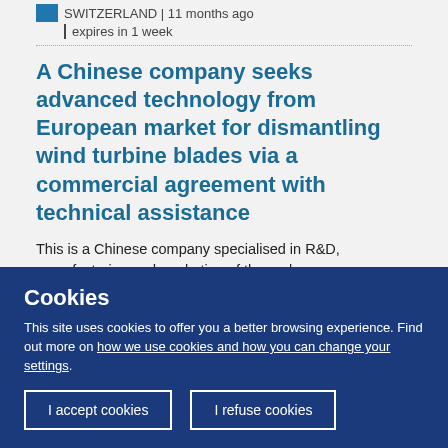SWITZERLAND | 11 months ago | expires in 1 week
A Chinese company seeks advanced technology from European market for dismantling wind turbine blades via a commercial agreement with technical assistance
This is a Chinese company specialised in R&D, manufacturing and marketing of thermal power
Cookies
This site uses cookies to offer you a better browsing experience. Find out more on how we use cookies and how you can change your settings.
I accept cookies
I refuse cookies